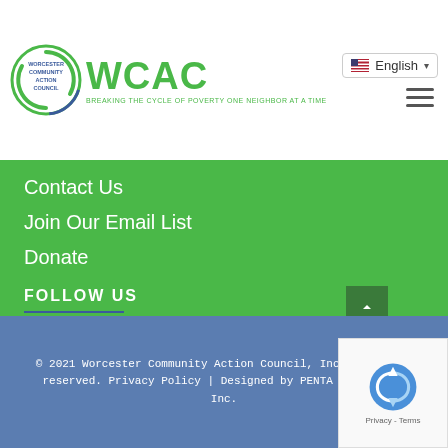[Figure (logo): WCAC Worcester Community Action Council logo with circular emblem and green WCAC text, tagline: BREAKING THE CYCLE OF POVERTY ONE NEIGHBOR AT A TIME]
Contact Us
Join Our Email List
Donate
FOLLOW US
[Figure (infographic): Four social media icons (Facebook, Twitter/X, LinkedIn, YouTube) in white on green background]
© 2021 Worcester Community Action Council, Inc. All rights reserved. Privacy Policy | Designed by PENTA Communications, Inc.